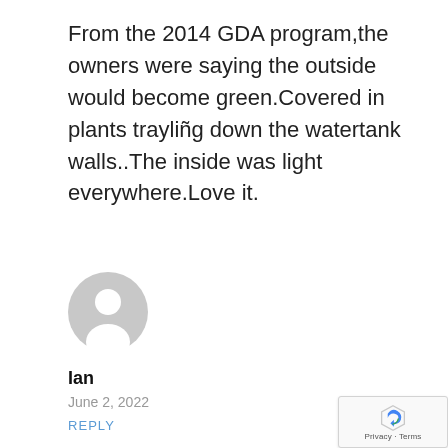From the 2014 GDA program,the owners were saying the outside would become green.Covered in plants trayliñg down the watertank walls..The inside was light everywhere.Love it.
[Figure (illustration): Generic grey user avatar icon — circular silhouette of a person's head and shoulders]
Ian
June 2, 2022
REPLY
[Figure (logo): Google reCAPTCHA badge with shield icon and Privacy/Terms links]